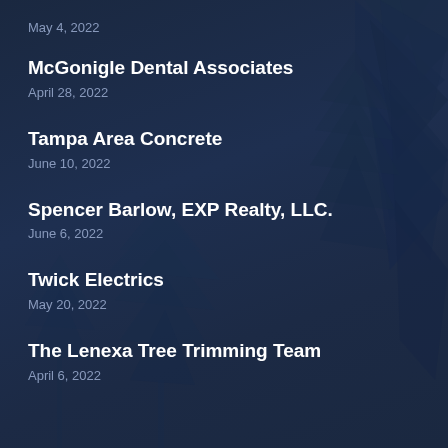May 4, 2022
McGonigle Dental Associates
April 28, 2022
Tampa Area Concrete
June 10, 2022
Spencer Barlow, EXP Realty, LLC.
June 6, 2022
Twick Electrics
May 20, 2022
The Lenexa Tree Trimming Team
April 6, 2022